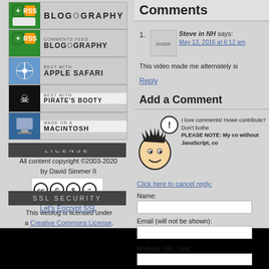[Figure (screenshot): Blogography badge with green and orange RSS icons]
[Figure (screenshot): Comments Feed Blogography badge with green and orange icons]
[Figure (screenshot): Best with Apple Safari badge]
[Figure (screenshot): Best with Pirate's Booty badge]
[Figure (screenshot): Made on a Macintosh badge]
LICENSE
All content copyright ©2003-2020 by David Simmer II
[Figure (logo): Creative Commons BY NC ND license badge]
This weblog is licensed under a Creative Commons License.
SSL SECURITY
Let's Encrypt SSL
Comments
Steve in NH says:
May 13, 2016 at 6:12 am
This video made me alternately si
Reply
Add a Comment
I love comments! Howe contribute? Don't bothe PLEASE NOTE: My co without JavaScript, co
Click here to cancel reply.
Name:
Email (will not be shown):
Website URL Link: